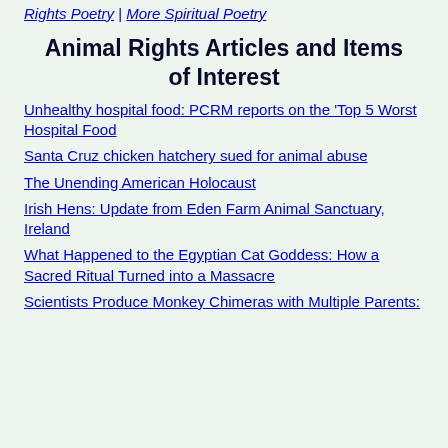Rights Poetry | More Spiritual Poetry
Animal Rights Articles and Items of Interest
Unhealthy hospital food: PCRM reports on the 'Top 5 Worst Hospital Food
Santa Cruz chicken hatchery sued for animal abuse
The Unending American Holocaust
Irish Hens: Update from Eden Farm Animal Sanctuary, Ireland
What Happened to the Egyptian Cat Goddess: How a Sacred Ritual Turned into a Massacre
Scientists Produce Monkey Chimeras with Multiple Parents: